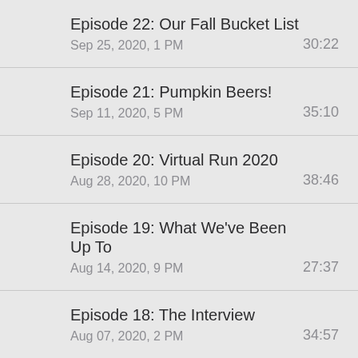Episode 22: Our Fall Bucket List
Sep 25, 2020, 1 PM
30:22
Episode 21: Pumpkin Beers!
Sep 11, 2020, 5 PM
35:10
Episode 20: Virtual Run 2020
Aug 28, 2020, 10 PM
38:46
Episode 19: What We've Been Up To
Aug 14, 2020, 9 PM
27:37
Episode 18: The Interview
Aug 07, 2020, 2 PM
34:57
Episode 17: Grateful